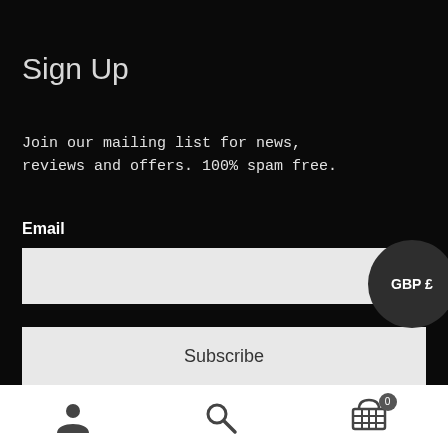Sign Up
Join our mailing list for news, reviews and offers. 100% spam free.
GBP £
Email
[Figure (other): Email text input field (light gray rectangle)]
[Figure (other): Subscribe button (light gray rectangle with 'Subscribe' label)]
User icon | Search icon | Cart icon with badge 0